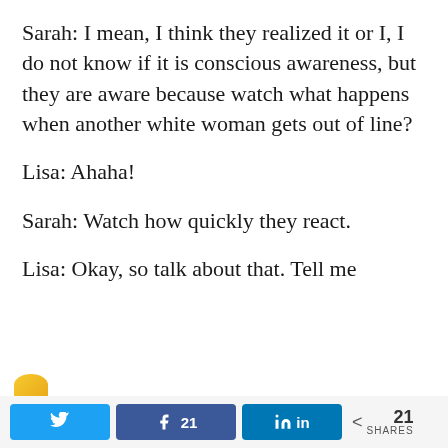Sarah: I mean, I think they realized it or I, I do not know if it is conscious awareness, but they are aware because watch what happens when another white woman gets out of line?
Lisa: Ahaha!
Sarah: Watch how quickly they react.
Lisa: Okay, so talk about that. Tell me
21 SHARES (Twitter share, Facebook share with 21, LinkedIn share, < 21 SHARES)